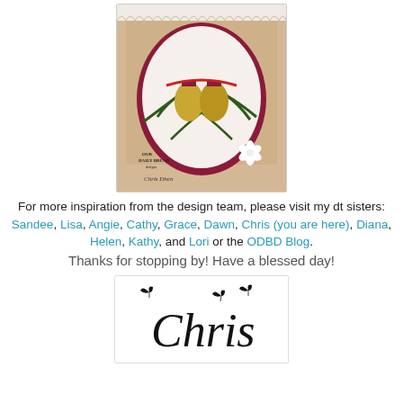[Figure (photo): A handmade Christmas card featuring bells decorated with pine branches and ribbon in an oval frame on kraft cardstock, with a white poinsettia flower accent. Includes the 'Our Daily Bread Designs' stamp logo and 'Chris Dhen' signature.]
For more inspiration from the design team, please visit my dt sisters:
Sandee, Lisa, Angie, Cathy, Grace, Dawn, Chris (you are here), Diana, Helen, Kathy, and Lori or the ODBD Blog.
Thanks for stopping by! Have a blessed day!
[Figure (illustration): A handwritten cursive signature reading 'Chris' with decorative butterfly silhouettes around it on a white background.]